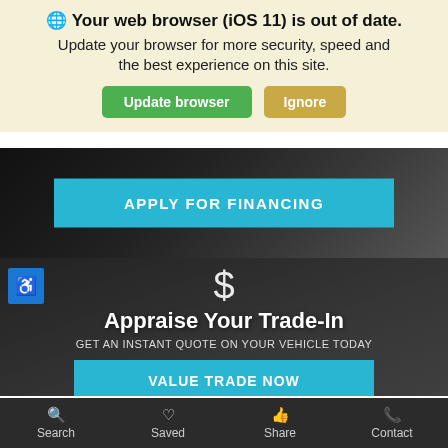Your web browser (iOS 11) is out of date. Update your browser for more security, speed and the best experience on this site.
Update browser
Ignore
[Figure (screenshot): Dark blurred car background with cyan button labeled APPLY FOR FINANCING]
APPLY FOR FINANCING
[Figure (screenshot): Dark photo of hand holding car keys with dollar sign icon, accessibility icon, trade-in appraisal content and button]
Appraise Your Trade-In
GET AN INSTANT QUOTE ON YOUR VEHICLE TODAY
VALUE TRADE NOW
Search   Saved   Share   Contact